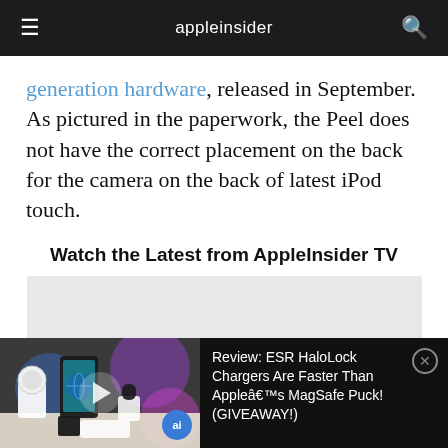appleinsider
generation hardware, released in September. As pictured in the paperwork, the Peel does not have the correct placement on the back for the camera on the back of latest iPod touch.
Watch the Latest from AppleInsider TV
[Figure (screenshot): Gray placeholder rectangle for embedded video player]
[Figure (screenshot): Sticky video player bar at bottom showing ESR HaloLock Chargers review thumbnail with Apple accessories on a desk, play button overlay, and ai badge]
Review: ESR HaloLock Chargers Are Faster Than Appleâ€™s MagSafe Puck! (GIVEAWAY!)